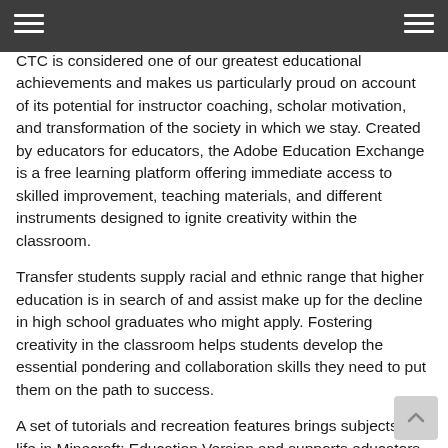CTC is considered one of our greatest educational achievements and makes us particularly proud on account of its potential for instructor coaching, scholar motivation, and transformation of the society in which we stay. Created by educators for educators, the Adobe Education Exchange is a free learning platform offering immediate access to skilled improvement, teaching materials, and different instruments designed to ignite creativity within the classroom.
Transfer students supply racial and ethnic range that higher education is in search of and assist make up for the decline in high school graduates who might apply. Fostering creativity in the classroom helps students develop the essential pondering and collaboration skills they need to put them on the path to success.
A set of tutorials and recreation features brings subjects to life in Minecraft: Education Version and supports educators in classroom administration and formative evaluation. All kinds of versatile licensing options for lecture rooms, labs, departments and faculties. For quality education to be provided to the youngsters of